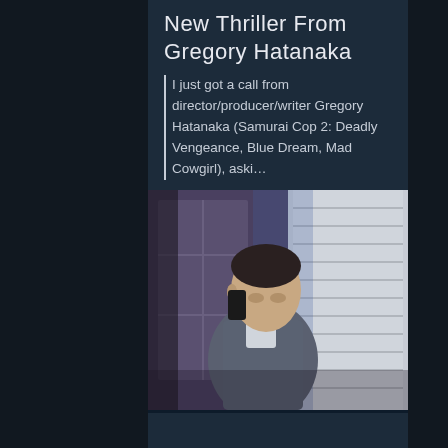New Thriller From Gregory Hatanaka
I just got a call from director/producer/writer Gregory Hatanaka (Samurai Cop 2: Deadly Vengeance, Blue Dream, Mad Cowgirl), aski...
0 views  0 comments  4 likes
[Figure (photo): A man in a grey plaid shirt talking on a phone, standing near window blinds with soft light.]
From Related News